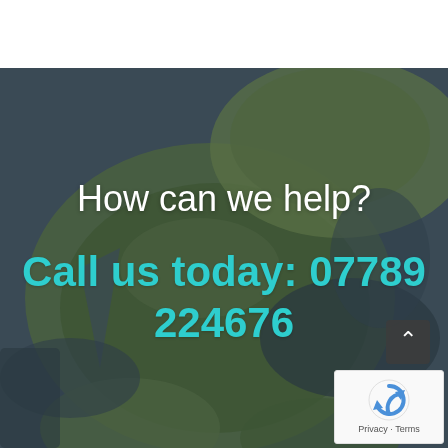[Figure (photo): Background photo of lily pads (lotus leaves) floating on dark water, with blurred green circular leaves and a small white flower visible at bottom right. Overlaid with white text 'How can we help?' and teal text 'Call us today: 07789 224676'. Includes a scroll-up button and a reCAPTCHA badge in the bottom-right corner.]
How can we help?
Call us today: 07789 224676
Privacy · Terms